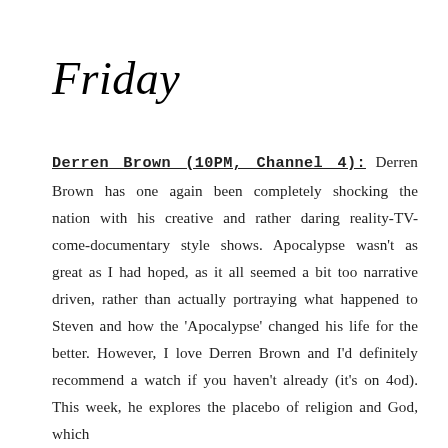Friday
Derren Brown (10PM, Channel 4): Derren Brown has one again been completely shocking the nation with his creative and rather daring reality-TV-come-documentary style shows. Apocalypse wasn't as great as I had hoped, as it all seemed a bit too narrative driven, rather than actually portraying what happened to Steven and how the 'Apocalypse' changed his life for the better. However, I love Derren Brown and I'd definitely recommend a watch if you haven't already (it's on 4od). This week, he explores the placebo of religion and God, which